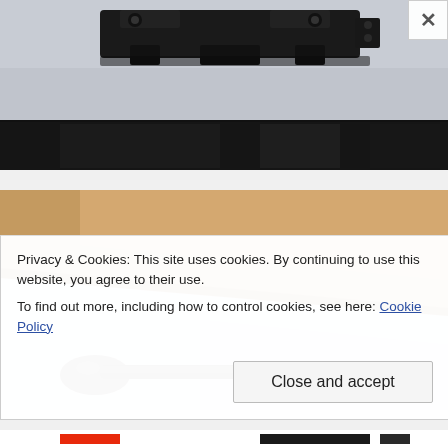[Figure (photo): Close-up photograph of a black metal hinge or hardware component on a light grey/white background. The object appears to be some kind of mechanical fastener or bracket, dark/black in color.]
[Figure (photo): Close-up photograph showing a brown cardboard or leather surface viewed at an angle, on a white background, with a dark metallic object (appears to be a punch or tool tip) visible at the bottom portion of the image.]
Privacy & Cookies: This site uses cookies. By continuing to use this website, you agree to their use.
To find out more, including how to control cookies, see here: Cookie Policy
Close and accept